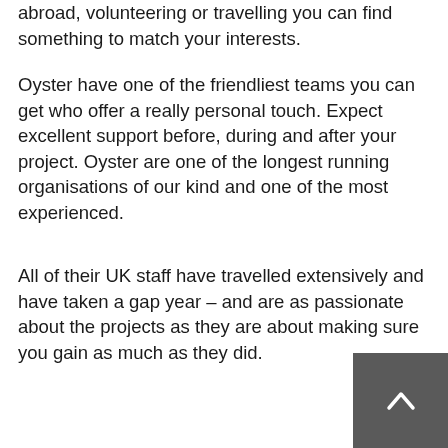abroad, volunteering or travelling you can find something to match your interests.
Oyster have one of the friendliest teams you can get who offer a really personal touch. Expect excellent support before, during and after your project. Oyster are one of the longest running organisations of our kind and one of the most experienced.
All of their UK staff have travelled extensively and have taken a gap year – and are as passionate about the projects as they are about making sure you gain as much as they did.